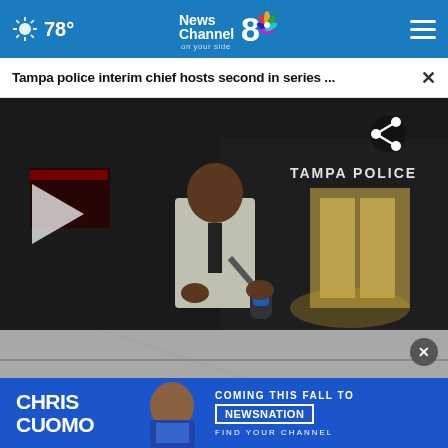78° | News Channel 8 on your side
Tampa police interim chief hosts second in series ...
[Figure (photo): TV news reporter in gray suit holding a microphone standing outside Tampa Police headquarters at night, with a play button overlay]
[Figure (photo): Advertisement banner: CHRIS CUOMO COMING THIS FALL TO [NEWSNATION] FIND YOUR CHANNEL]